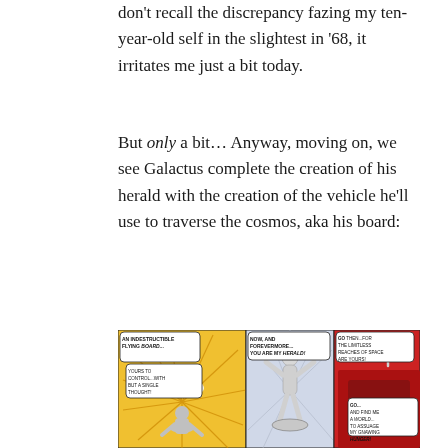don't recall the discrepancy fazing my ten-year-old self in the slightest in '68, it irritates me just a bit today.
But only a bit... Anyway, moving on, we see Galactus complete the creation of his herald with the creation of the vehicle he'll use to traverse the cosmos, aka his board:
[Figure (illustration): Three-panel comic strip showing the Silver Surfer's creation. Left panel: Silver Surfer viewed from behind watching an indestructible flying board form in a burst of energy, with text 'AN INDESTRUCTIBLE FLYING BOARD... YOURS TO CONTROL...WITH BUT A SINGLE THOUGHT!' Middle panel: Silver Surfer fully revealed, arms raised, with speech bubble 'NOW, AND FOREVERMORE...YOU ARE MY HERALD!' Right panel: Red-armored Galactus with speech bubbles 'GO THEN...FOR THE LIMITLESS REACHES OF SPACE ARE YOURS!' and 'GO...AND FIND ME A WORLD...TO ASSUAGE MY GNAWING HUNGER!']